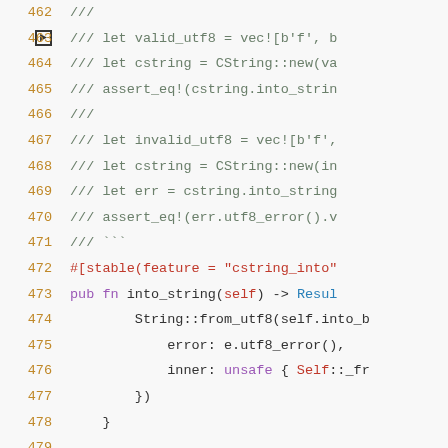[Figure (screenshot): Rust source code editor view showing lines 462-480 with syntax highlighting. Line 463 has an arrow indicator. Code includes doc comments (///) and implementation of into_string function with stable feature attribute.]